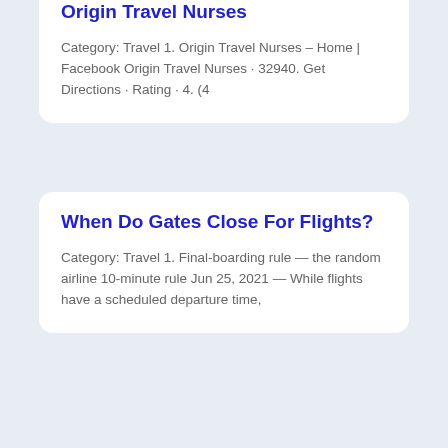Origin Travel Nurses
Category: Travel 1. Origin Travel Nurses – Home | Facebook Origin Travel Nurses · 32940. Get Directions · Rating · 4. (4
When Do Gates Close For Flights?
Category: Travel 1. Final-boarding rule — the random airline 10-minute rule Jun 25, 2021 — While flights have a scheduled departure time,